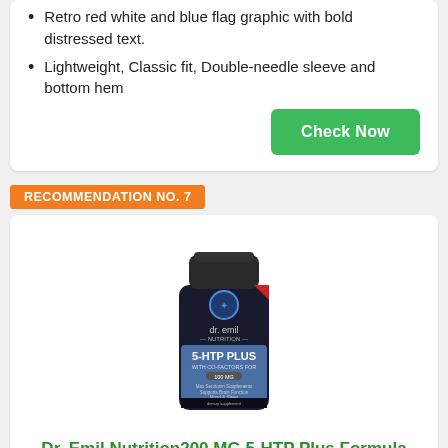Retro red white and blue flag graphic with bold distressed text.
Lightweight, Classic fit, Double-needle sleeve and bottom hem
RECOMMENDATION NO. 7
[Figure (photo): Dr. Emil Nutrition 5-HTP Plus supplement bottle with black cap and dark label on white background.]
Dr. Emil Nutrition200 MG 5-HTP Plus Formula for Mood, Stress, and Sleep Support, 60 Vegan